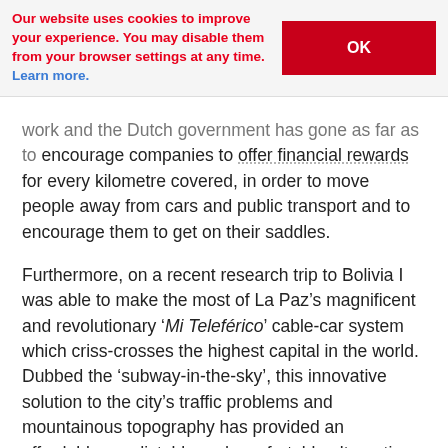Our website uses cookies to improve your experience. You may disable them from your browser settings at any time. Learn more.   OK
work and the Dutch government has gone as far as to encourage companies to offer financial rewards for every kilometre covered, in order to move people away from cars and public transport and to encourage them to get on their saddles.
Furthermore, on a recent research trip to Bolivia I was able to make the most of La Paz’s magnificent and revolutionary ‘Mi Teleférico’ cable-car system which criss-crosses the highest capital in the world. Dubbed the ‘subway-in-the-sky’, this innovative solution to the city’s traffic problems and mountainous topography has provided an affordable, predictable and comfortable alternative to bus travel. The system has slashed commute times, saved tonnes of carbon emissions and also treats users to incredible views of the snow-capped Illimani and other surrounding peaks. The first